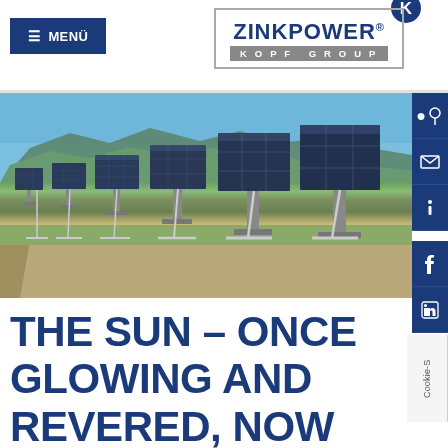[Figure (logo): ZinkPower Kopf Group logo with K circle emblem and grey KOPF GROUP band]
≡ MENÜ
[Figure (photo): Large solar panel farm with rows of photovoltaic panels, mountains and blue sky in background]
THE SUN – ONCE GLOWING AND REVERED, NOW